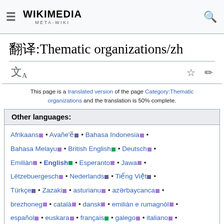WIKIMEDIA META-WIKI
翻译:Thematic organizations/zh
This page is a translated version of the page Category:Thematic organizations and the translation is 50% complete.
Other languages:
Afrikaans • Avañe'ẽ • Bahasa Indonesia • Bahasa Melayu • British English • Deutsch • Emiliàn • English • Esperanto • Jawa • Lëtzebuergesch • Nederlands • Tiếng Việt • Türkçe • Zazaki • asturianu • azərbaycanca • brezhoneg • català • dansk • emiliàn e rumagnòl • español • euskara • français • galego • italiano